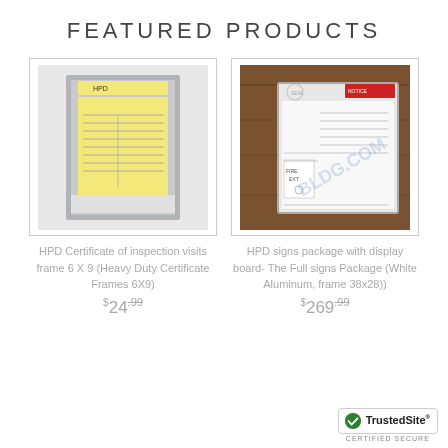FEATURED PRODUCTS
[Figure (photo): Photo of HPD Certificate of inspection visits frame mounted on wall with yellow inspection form]
HPD Certificate of inspection visits frame 6 X 9 (Heavy Duty Certificate Frames 6X9)
$24.99
[Figure (photo): Photo of HPD signs package with display board showing full signs package with white aluminum frame 38x28]
HPD signs package with display board- The Full signs Package (White Aluminum, frame 38x28))
$269.99
[Figure (logo): TrustedSite Certified Secure badge]